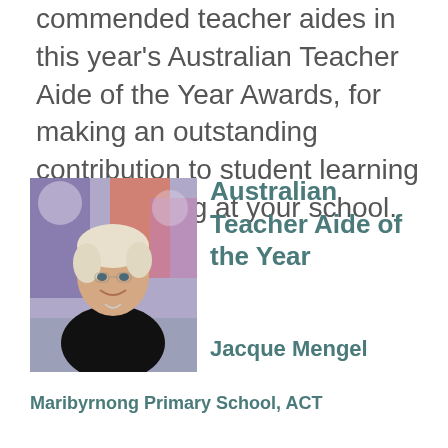commended teacher aides in this year's Australian Teacher Aide of the Year Awards, for making an outstanding contribution to student learning and wellbeing at your school.
[Figure (photo): Portrait photo of Jacque Mengel, an older woman with short blonde/white hair, wearing a black top, smiling, with a colourful background.]
Australian Teacher Aide of the Year
Jacque Mengel
Maribyrnong Primary School, ACT